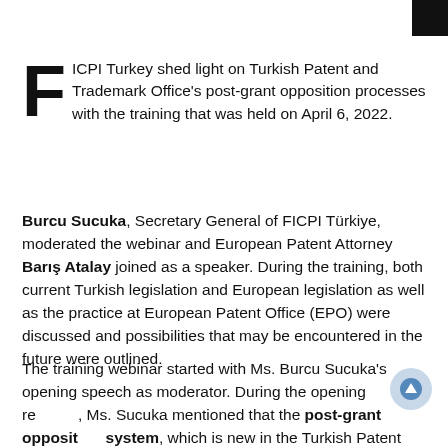FICPI Turkey shed light on Turkish Patent and Trademark Office's post-grant opposition processes with the training that was held on April 6, 2022.
Burcu Sucuka, Secretary General of FICPI Türkiye, moderated the webinar and European Patent Attorney Barış Atalay joined as a speaker. During the training, both current Turkish legislation and European legislation as well as the practice at European Patent Office (EPO) were discussed and possibilities that may be encountered in the future were outlined.
The training webinar started with Ms. Burcu Sucuka's opening speech as moderator. During the opening remarks, Ms. Sucuka mentioned that the post-grant opposition system, which is new in the Turkish Patent and Trademark Office, is...